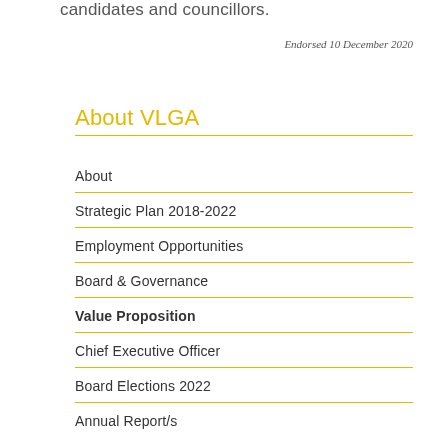candidates and councillors.
Endorsed 10 December 2020
About VLGA
About
Strategic Plan 2018-2022
Employment Opportunities
Board & Governance
Value Proposition
Chief Executive Officer
Board Elections 2022
Annual Report/s